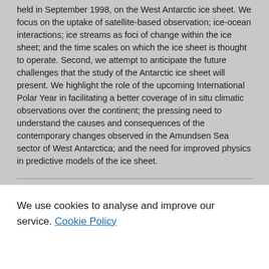held in September 1998, on the West Antarctic ice sheet. We focus on the uptake of satellite-based observation; ice-ocean interactions; ice streams as foci of change within the ice sheet; and the time scales on which the ice sheet is thought to operate. Second, we attempt to anticipate the future challenges that the study of the Antarctic ice sheet will present. We highlight the role of the upcoming International Polar Year in facilitating a better coverage of in situ climatic observations over the continent; the pressing need to understand the causes and consequences of the contemporary changes observed in the Amundsen Sea sector of West Antarctica; and the need for improved physics in predictive models of the ice sheet.
Translated title of the contribution
Evolution of the Antarctic ice sheet: new understanding and challenges
We use cookies to analyse and improve our service. Cookie Policy